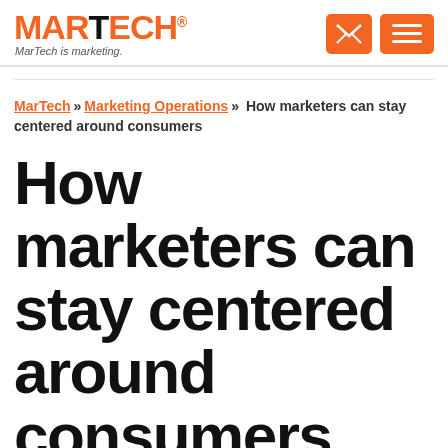MARTECH® MarTech is marketing.
MarTech » Marketing Operations » How marketers can stay centered around consumers
How marketers can stay centered around consumers
There are plenty of opportunities today to establish long-term consumer relationships.